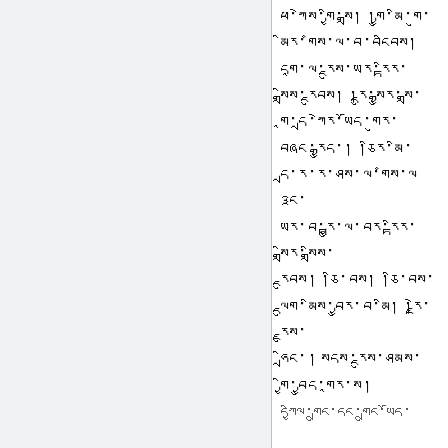ཕ་ཀེས་གྱི་སྒྲ། །གྱུ་མི་གུ་མིར་གཾས་ལ་བ་བངིབས། དགཱ་ལ་རྔུས་ཡར་རྟིར་སྒྲིས་རྔུབས། །རྡུ་སྒྱུར་སྒྲ་གཱ་དྲ་ཀེར་ཡོད་གུར་བཞང་རྒྱུད་། །ཅིར་མི་དྲ་ར་ར་ཤས་ལ་གཾས་ལ ༣ང་ཡར་བ་རྟྱུ་ལ་བར་རྟིར་སྒྲིར་སྒྲིས་རྔུབས། །ཅི་བས། །ཅི་བས་ལྡུག་མིས་བྱུར་བ་མི། །རྗེ་རྗུས་ཧྲིང་། སདས་རྔུས་ཤམས་ཤད་གྱི་བྱུད་གཱར་ས།